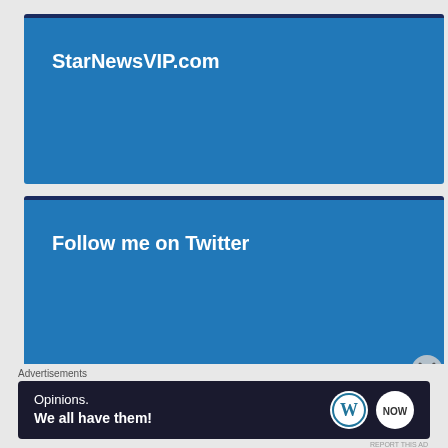StarNewsVIP.com
Follow me on Twitter
Tweets from @starnewsvip
Advertisements
[Figure (screenshot): Advertisement banner with text 'Opinions. We all have them!' and WordPress logos on dark navy background]
REPORT THIS AD